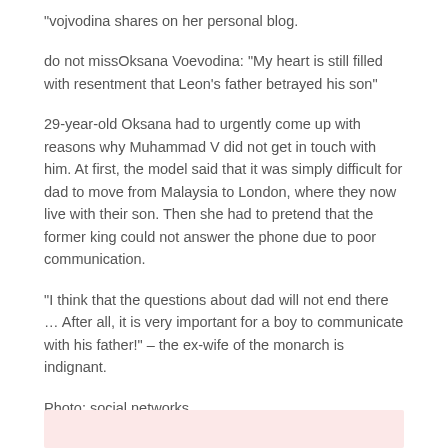"vojvodina shares on her personal blog.
do not missOksana Voevodina: “My heart is still filled with resentment that Leon’s father betrayed his son”
29-year-old Oksana had to urgently come up with reasons why Muhammad V did not get in touch with him. At first, the model said that it was simply difficult for dad to move from Malaysia to London, where they now live with their son. Then she had to pretend that the former king could not answer the phone due to poor communication.
“I think that the questions about dad will not end there … After all, it is very important for a boy to communicate with his father!” – the ex-wife of the monarch is indignant.
Photo: social networks
[Figure (other): Pink/salmon colored background bar at the bottom of the page]